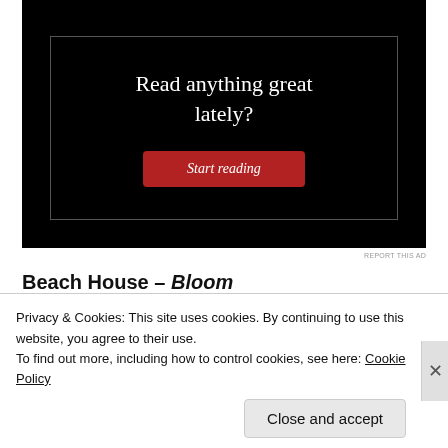[Figure (screenshot): Advertisement banner with black background, white serif text reading 'Read anything great lately?' and a red button labeled 'Start reading']
REPORT THIS AD
Beach House – Bloom
Release Date: May 15
[Figure (photo): Album art: black background with white polka dots pattern]
Privacy & Cookies: This site uses cookies. By continuing to use this website, you agree to their use.
To find out more, including how to control cookies, see here: Cookie Policy